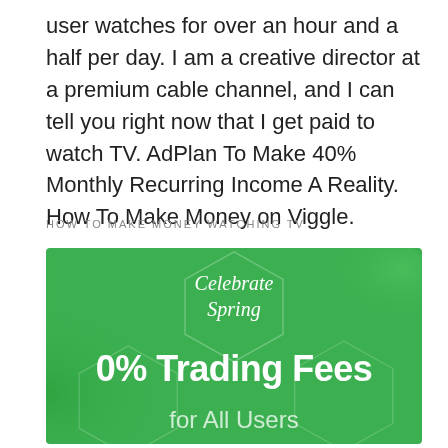user watches for over an hour and a half per day. I am a creative director at a premium cable channel, and I can tell you right now that I get paid to watch TV. AdPlan To Make 40% Monthly Recurring Income A Reality. How To Make Money on Viggle.
HOW TO MAKE MONEY WATCHING TV
[Figure (illustration): Green promotional banner for BTCC USD Exchange with decorative hexagon pattern. Text reads: 'Celebrate Spring' in italic, '0% Trading Fees' in large bold white, 'for All Users' in semi-transparent white, 'BTCC USD Exchange' in bold white.]